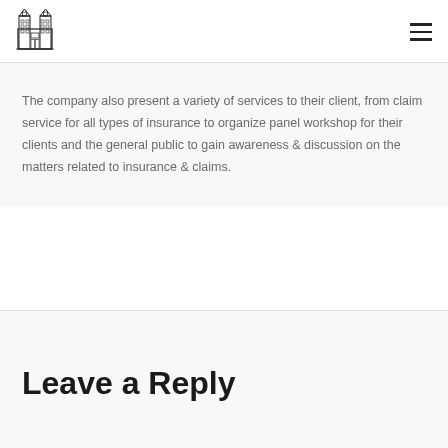[Figure (logo): Building/institution logo with two towers, black outline illustration]
The company also present a variety of services to their client, from claim service for all types of insurance to organize panel workshop for their clients and the general public to gain awareness & discussion on the matters related to insurance & claims.
Leave a Reply